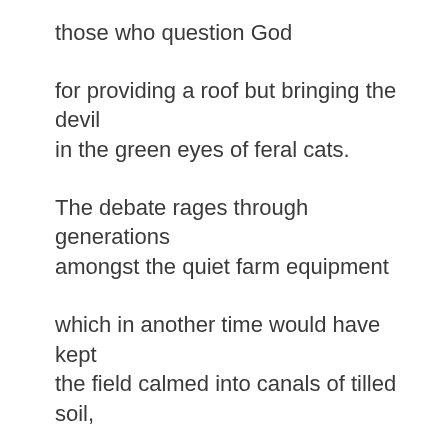those who question God
for providing a roof but bringing the devil
in the green eyes of feral cats.
The debate rages through generations
amongst the quiet farm equipment
which in another time would have kept
the field calmed into canals of tilled soil,
would have forced the mice to a moonlit
exodus into the woods of waiting owls.
All of this memory and lore forces the
congregation to believe everything
has a purpose: the field floods forward
with a reason; the tractor sleeps by God's